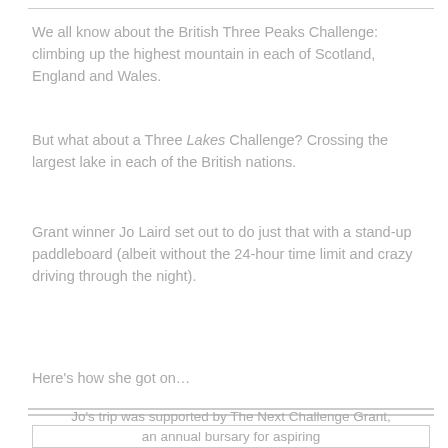We all know about the British Three Peaks Challenge: climbing up the highest mountain in each of Scotland, England and Wales.
But what about a Three Lakes Challenge? Crossing the largest lake in each of the British nations.
Grant winner Jo Laird set out to do just that with a stand-up paddleboard (albeit without the 24-hour time limit and crazy driving through the night).
Here's how she got on…
Jo's trip was supported by The Next Challenge Grant, an annual bursary for aspiring